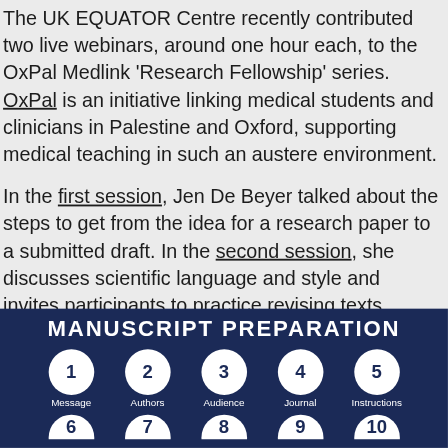The UK EQUATOR Centre recently contributed two live webinars, around one hour each, to the OxPal Medlink 'Research Fellowship' series. OxPal is an initiative linking medical students and clinicians in Palestine and Oxford, supporting medical teaching in such an austere environment.

In the first session, Jen De Beyer talked about the steps to get from the idea for a research paper to a submitted draft. In the second session, she discusses scientific language and style and invites participants to practice revising texts, cutting words and improving clarity.
[Figure (infographic): Dark navy blue infographic titled 'MANUSCRIPT PREPARATION' showing numbered circles in two rows. Row 1: 1 Message, 2 Authors, 3 Audience, 4 Journal, 5 Instructions. Row 2 (partially visible): 6, 7, 8, 9, 10.]